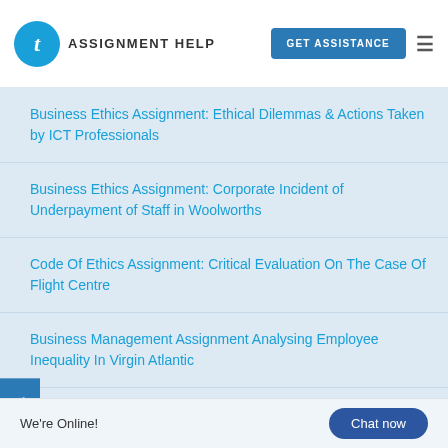TAssignmentHelp | GET ASSISTANCE
Business Ethics Assignment: Ethical Dilemmas & Actions Taken by ICT Professionals
Business Ethics Assignment: Corporate Incident of Underpayment of Staff in Woolworths
Code Of Ethics Assignment: Critical Evaluation On The Case Of Flight Centre
Business Management Assignment Analysing Employee Inequality In Virgin Atlantic
Corporate Governance Assignment: Case Analysis of
We're Online!  Chat now